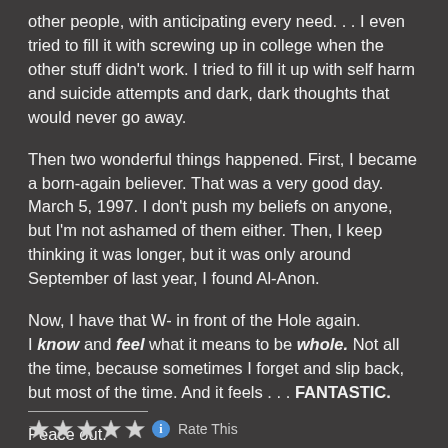other people, with anticipating every need. . . I even tried to fill it with screwing up in college when the other stuff didn't work. I tried to fill it up with self harm and suicide attempts and dark, dark thoughts that would never go away.
Then two wonderful things happened. First, I became a born-again believer. That was a very good day. March 5, 1997. I don't push my beliefs on anyone, but I'm not ashamed of them either. Then, I keep thinking it was longer, but it was only around September of last year, I found Al-Anon.
Now, I have that W- in front of the Hole again. I know and feel what it means to be whole. Not all the time, because sometimes I forget and slip back, but most of the time. And it feels . . . FANTASTIC.
Peace out.
[Figure (other): A horizontal divider line followed by five star rating icons and a blue info icon, with text 'Rate This']